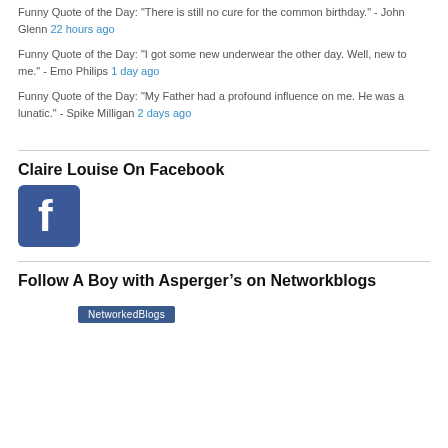Funny Quote of the Day: "There is still no cure for the common birthday." - John Glenn 22 hours ago
Funny Quote of the Day: "I got some new underwear the other day. Well, new to me." - Emo Philips 1 day ago
Funny Quote of the Day: "My Father had a profound influence on me. He was a lunatic." - Spike Milligan 2 days ago
Claire Louise On Facebook
[Figure (logo): Facebook logo icon - blue square with white f letter]
Follow A Boy with Asperger’s on Networkblogs
[Figure (logo): NetworkedBlogs button/badge]